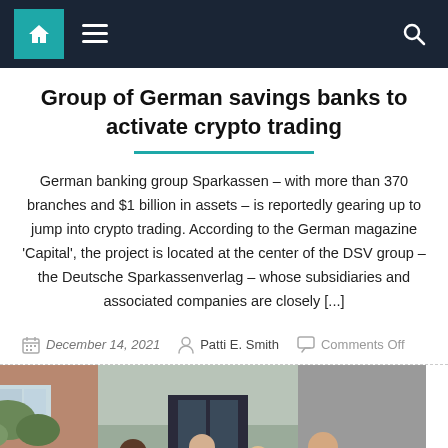Navigation bar with home, menu, and search icons
Group of German savings banks to activate crypto trading
German banking group Sparkassen – with more than 370 branches and $1 billion in assets – is reportedly gearing up to jump into crypto trading. According to the German magazine 'Capital', the project is located at the center of the DSV group – the Deutsche Sparkassenverlag – whose subsidiaries and associated companies are closely [...]
December 14, 2021   Patti E. Smith   Comments Off
[Figure (photo): Group photo of several people standing in front of a brick building with glass doors. Includes men and women, some in business attire.]